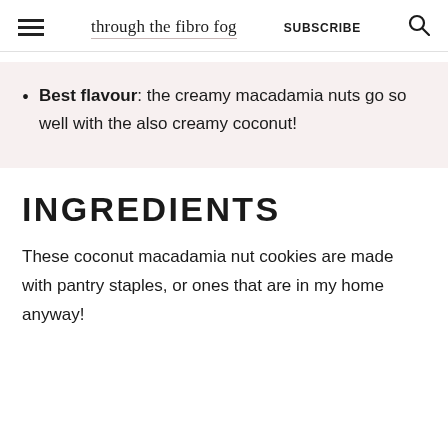through the fibro fog | SUBSCRIBE
Best flavour: the creamy macadamia nuts go so well with the also creamy coconut!
INGREDIENTS
These coconut macadamia nut cookies are made with pantry staples, or ones that are in my home anyway!